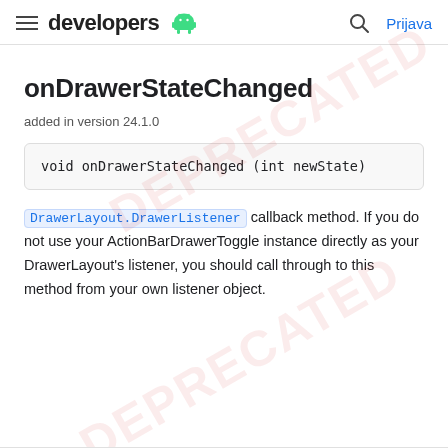developers | Prijava
onDrawerStateChanged
added in version 24.1.0
void onDrawerStateChanged (int newState)
DrawerLayout.DrawerListener callback method. If you do not use your ActionBarDrawerToggle instance directly as your DrawerLayout's listener, you should call through to this method from your own listener object.